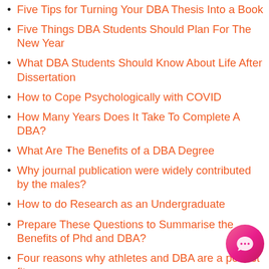Five Tips for Turning Your DBA Thesis Into a Book
Five Things DBA Students Should Plan For The New Year
What DBA Students Should Know About Life After Dissertation
How to Cope Psychologically with COVID
How Many Years Does It Take To Complete A DBA?
What Are The Benefits of a DBA Degree
Why journal publication were widely contributed by the males?
How to do Research as an Undergraduate
Prepare These Questions to Summarise the Benefits of Phd and DBA?
Four reasons why athletes and DBA are a perfect fit
Phd and Dba: What Is A Better Choice?
The Rise Of The Doctor of Business Administration (DBA)